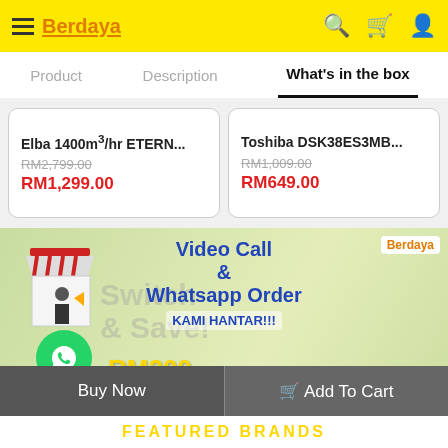Berdaya
Product | Description | What's in the box
Elba 1400m³/hr ETERN... RM2,799.00 RM1,299.00
Toshiba DSK38ES3MB... RM1,009.00 RM649.00
[Figure (infographic): Promotional banner with Video Call & Whatsapp Order KAMI HANTAR!!! text, WhatsApp icon, store illustration, Switch & Save text overlay, RM200 e-rebate, Berdaya logo, and SHOP NOW button]
Buy Now
Add To Cart
FEATURED BRANDS